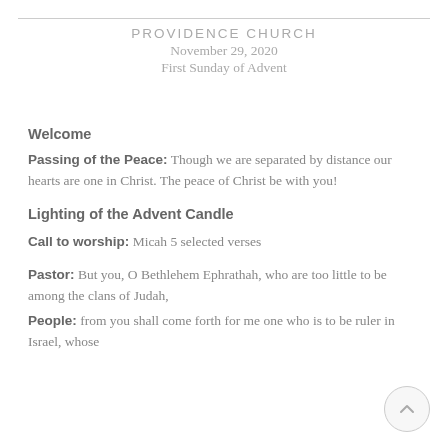PROVIDENCE CHURCH
November 29, 2020
First Sunday of Advent
Welcome
Passing of the Peace: Though we are separated by distance our hearts are one in Christ. The peace of Christ be with you!
Lighting of the Advent Candle
Call to worship: Micah 5 selected verses
Pastor: But you, O Bethlehem Ephrathah, who are too little to be among the clans of Judah,
People: from you shall come forth for me one who is to be ruler in Israel, whose